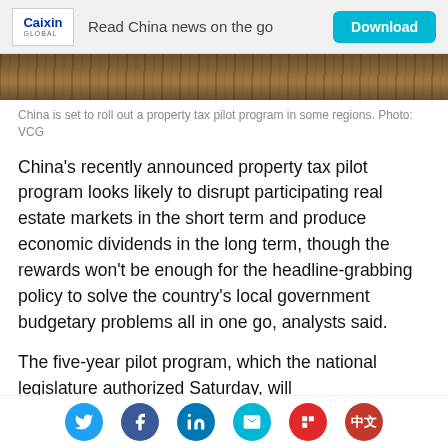Read China news on the go | Download
[Figure (photo): Close-up of wooden surface/floorboards, representing real estate context]
China is set to roll out a property tax pilot program in some regions. Photo: VCG
China’s recently announced property tax pilot program looks likely to disrupt participating real estate markets in the short term and produce economic dividends in the long term, though the rewards won’t be enough for the headline-grabbing policy to solve the country’s local government budgetary problems all in one go, analysts said.
The five-year pilot program, which the national legislature authorized Saturday, will
Social sharing icons: Twitter, Facebook, LinkedIn, Email, Flipboard, Chinese